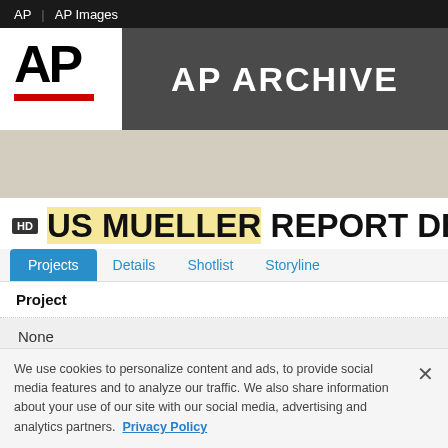AP | AP Images
[Figure (logo): AP logo with red bar and AP ARCHIVE text on dark gray background]
HD US MUELLER REPORT DEBR
Projects | Details | Shotlist | Storyline
Project
None
We use cookies to personalize content and ads, to provide social media features and to analyze our traffic. We also share information about your use of our site with our social media, advertising and analytics partners.  Privacy Policy